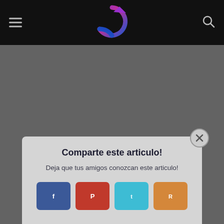Navigation header with hamburger menu, logo, and search icon
[Figure (logo): Circular arrow logo in purple, magenta, blue gradient on dark background]
[Figure (screenshot): Dark gray main content area background]
Comparte este articulo!
Deja que tus amigos conozcan este articulo!
[Figure (infographic): Four social share buttons: Facebook (dark blue), Pinterest (red), Twitter (cyan), Reddit (orange)]